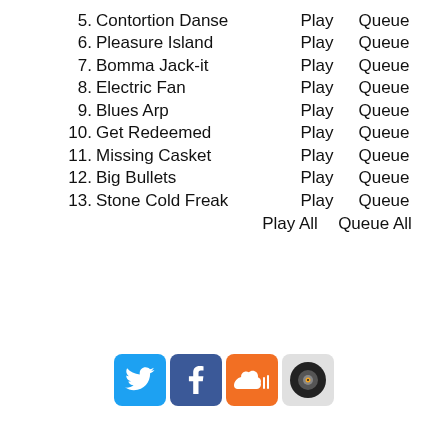5. Contortion Danse   Play   Queue
6. Pleasure Island   Play   Queue
7. Bomma Jack-it   Play   Queue
8. Electric Fan   Play   Queue
9. Blues Arp   Play   Queue
10. Get Redeemed   Play   Queue
11. Missing Casket   Play   Queue
12. Big Bullets   Play   Queue
13. Stone Cold Freak   Play   Queue
Play All   Queue All
[Figure (infographic): Social media icon buttons: Twitter (blue bird), Facebook (blue f), SoundCloud (orange cloud), and a vinyl/music icon (grey).]